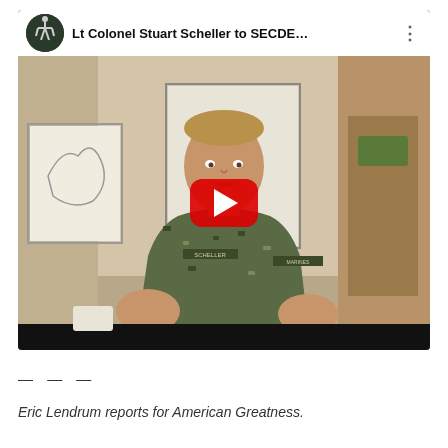[Figure (screenshot): YouTube video thumbnail and player UI showing Lt Colonel Stuart Scheller in military camouflage uniform sitting at a desk in an office, with a red play button overlay. The video top bar shows the title 'Lt Colonel Stuart Scheller to SECDE...' with a channel avatar and three-dot menu.]
— — —
Eric Lendrum reports for American Greatness.